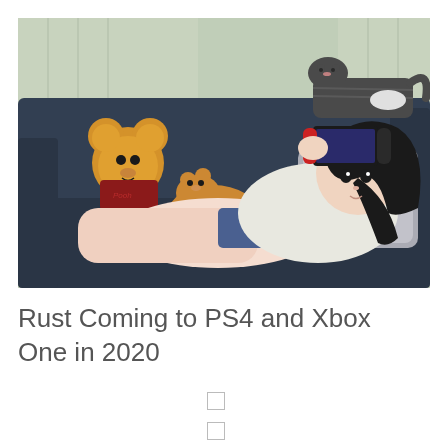[Figure (illustration): Digital illustration of a young woman with long dark hair lying on a dark blue sofa, playing a Nintendo Switch handheld console. A Winnie the Pooh stuffed animal sits next to her on the left, along with a corgi dog. A dark tabby cat rests on the top of the sofa behind her. Floral curtains are visible in the background.]
Rust Coming to PS4 and Xbox One in 2020